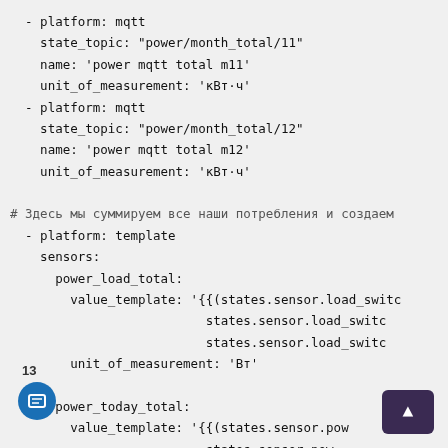- platform: mqtt
    state_topic: "power/month_total/11"
    name: 'power mqtt total m11'
    unit_of_measurement: 'кВт·ч'
  - platform: mqtt
    state_topic: "power/month_total/12"
    name: 'power mqtt total m12'
    unit_of_measurement: 'кВт·ч'

# Здесь мы суммируем все наши потребления и создаем
  - platform: template
    sensors:
      power_load_total:
        value_template: '{{(states.sensor.load_switc
                          states.sensor.load_switc
                          states.sensor.load_switc
        unit_of_measurement: 'Вт'

      power_today_total:
        value_template: '{{(states.sensor.pow
                          states.sensor.pow
                          states.sensor.pow
        unit_of_measurement: 'кВт·ч'
13